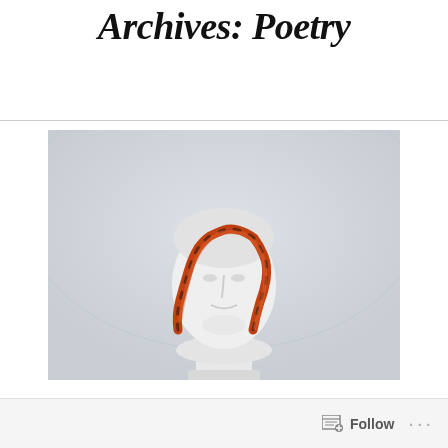Archives: Poetry
[Figure (photo): A white classical Greek/Roman bust sculpture with a red-orange snake draped over the head, photographed against a pale grey background.]
Follow  ...